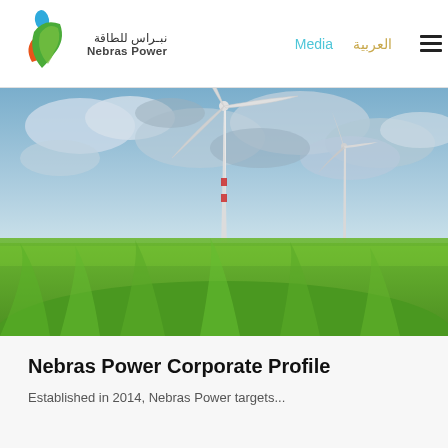Nebras Power | Media | العربية
[Figure (photo): Wind turbine standing tall above a lush green wheat field under a dramatic cloudy blue sky]
Nebras Power Corporate Profile
Established in 2014, Nebras Power targets...